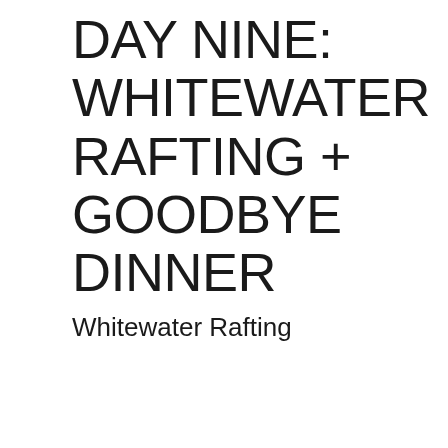DAY NINE: WHITEWATER RAFTING + GOODBYE DINNER
Whitewater Rafting
[Figure (other): DuckDuckGo advertisement banner with orange background. Text reads: 'Search, browse, and email with more privacy. All in One Free App' with DuckDuckGo logo and phone graphic.]